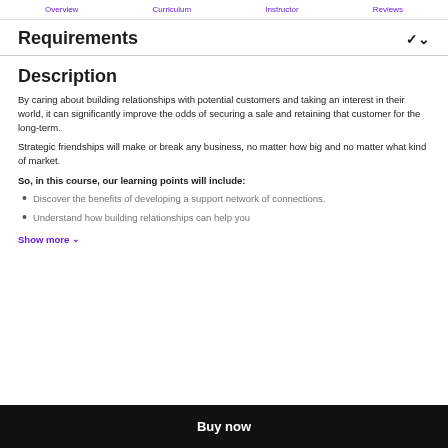Overview  Curriculum  Instructor  Reviews
Requirements
Description
By caring about building relationships with potential customers and taking an interest in their world, it can significantly improve the odds of securing a sale and retaining that customer for the long-term.
Strategic friendships will make or break any business, no matter how big and no matter what kind of market.
So, in this course, our learning points will include:
Discover the benefits of developing a support network of connections.
Understand how building relationships can help you
Show more
Buy now